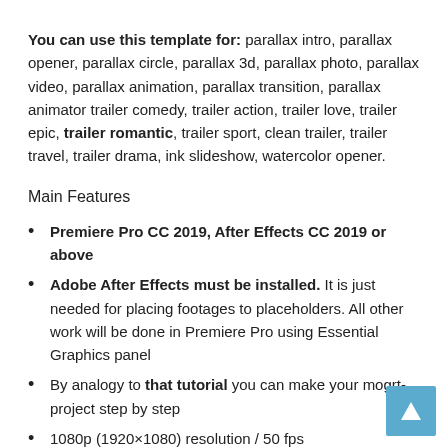You can use this template for: parallax intro, parallax opener, parallax circle, parallax 3d, parallax photo, parallax video, parallax animation, parallax transition, parallax animator trailer comedy, trailer action, trailer love, trailer epic, trailer romantic, trailer sport, clean trailer, trailer travel, trailer drama, ink slideshow, watercolor opener.
Main Features
Premiere Pro CC 2019, After Effects CC 2019 or above
Adobe After Effects must be installed. It is just needed for placing footages to placeholders. All other work will be done in Premiere Pro using Essential Graphics panel
By analogy to that tutorial you can make your mogrt-project step by step
1080p (1920×1080) resolution / 50 fps